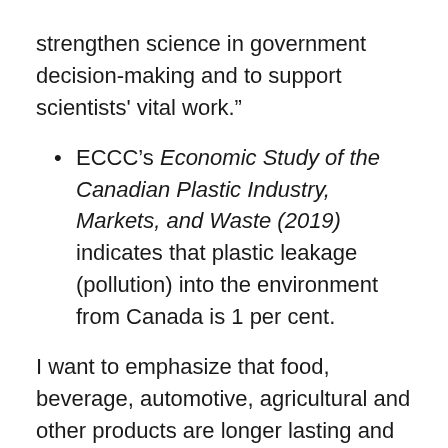strengthen science in government decision-making and to support scientists' vital work.”
ECCC’s Economic Study of the Canadian Plastic Industry, Markets, and Waste (2019) indicates that plastic leakage (pollution) into the environment from Canada is 1 per cent.
I want to emphasize that food, beverage, automotive, agricultural and other products are longer lasting and retain their economic value longer because of the science and technology in the packaging that has been